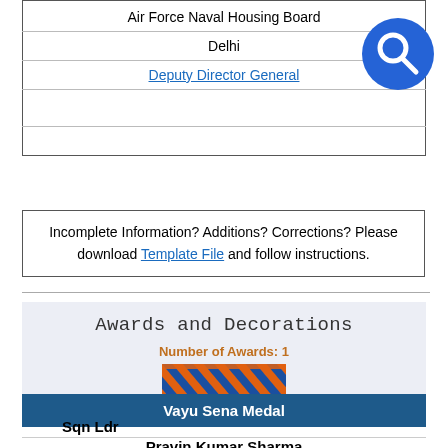| Air Force Naval Housing Board |
| Delhi |
| Deputy Director General |
|  |
|  |
Incomplete Information? Additions? Corrections? Please download Template File and follow instructions.
Awards and Decorations
Number of Awards: 1
[Figure (illustration): A military ribbon with blue and orange diagonal stripes representing the Vayu Sena Medal]
Vayu Sena Medal
Sqn Ldr
Pravin Kumar Sharma
17465 F(P)
Award Date